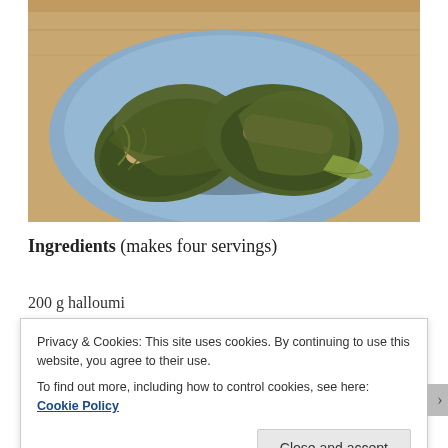[Figure (photo): Two stuffed grape leaves (dolmades) wrapped in dark green vine leaves, placed on a blue plate on a wooden surface]
Ingredients (makes four servings)
200 g halloumi
Privacy & Cookies: This site uses cookies. By continuing to use this website, you agree to their use.
To find out more, including how to control cookies, see here: Cookie Policy
Close and accept